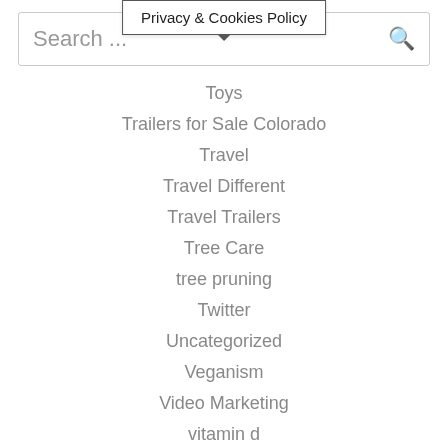Search ...  Privacy & Cookies Policy
Toys
Trailers for Sale Colorado
Travel
Travel Different
Travel Trailers
Tree Care
tree pruning
Twitter
Uncategorized
Veganism
Video Marketing
vitamin d
vitamin d deficiency